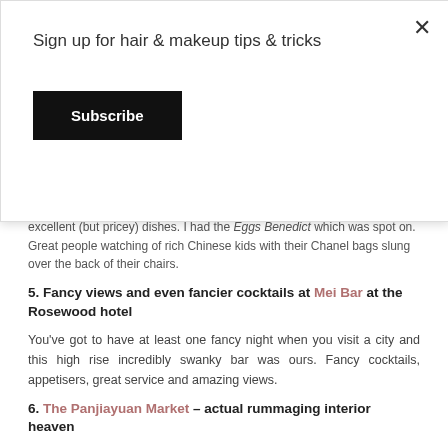Sign up for hair & makeup tips & tricks
Subscribe
excellent (but pricey) dishes. I had the Eggs Benedict which was spot on. Great people watching of rich Chinese kids with their Chanel bags slung over the back of their chairs.
5. Fancy views and even fancier cocktails at Mei Bar at the Rosewood hotel
You've got to have at least one fancy night when you visit a city and this high rise incredibly swanky bar was ours. Fancy cocktails, appetisers, great service and amazing views.
6. The Panjiayuan Market – actual rummaging interior heaven
Maybe the best market I've ever visited. Full of Chinese antiques and reproductions, trinkets, old Communist propaganda posters, books, baskets, jewellery, prints etc. A dream if you're into eclectic interiors like me.
7. Dinner at Dali Courtyard
We'd read about this restaurant on the Conde Nast Traveller website and booked a table for our last night. It's twinkly lighted and relaxed courtyard